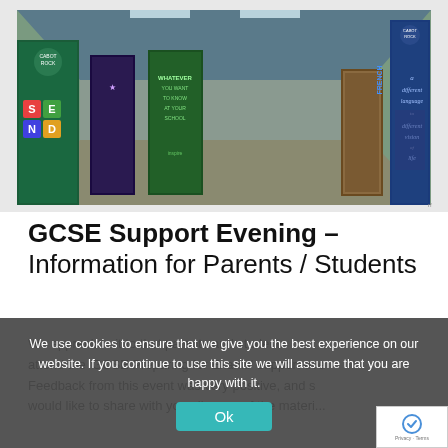[Figure (photo): School corridor with promotional banners and roll-up stands, including SEND, French language learning, and other subject displays]
GCSE Support Evening – Information for Parents / Students
We appreciate it to that parents and students
attend the 'GCSE Preparing for Exams' support eve
Feedback from this event was very positive, and s
would like to share with you all some of the materi...
We use cookies to ensure that we give you the best experience on our website. If you continue to use this site we will assume that you are happy with it.